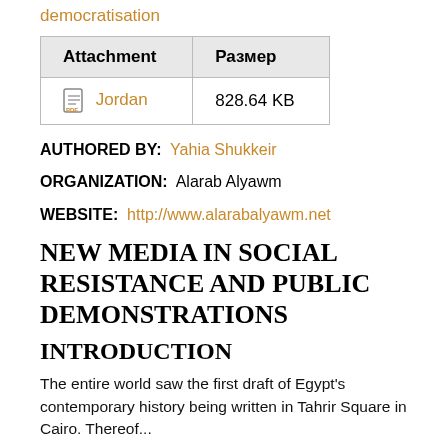democratisation
| Attachment | Размер |
| --- | --- |
| Jordan | 828.64 KB |
AUTHORED BY: Yahia Shukkeir
ORGANIZATION: Alarab Alyawm
WEBSITE: http://www.alarabalyawm.net
NEW MEDIA IN SOCIAL RESISTANCE AND PUBLIC DEMONSTRATIONS
INTRODUCTION
The entire world saw the first draft of Egypt's contemporary history being written in Tahrir Square in Cairo. Thereof...